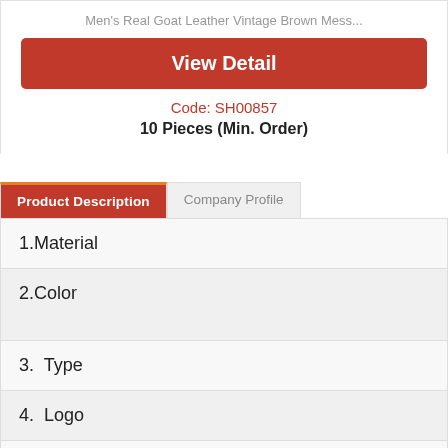Men's Real Goat Leather Vintage Brown Mess...
View Detail
Code: SH00857
10 Pieces (Min. Order)
Product Description
Company Profile
| 1.Material |
| 2.Color |
| 3.  Type |
| 4.  Logo |
| 5.  MOQ |